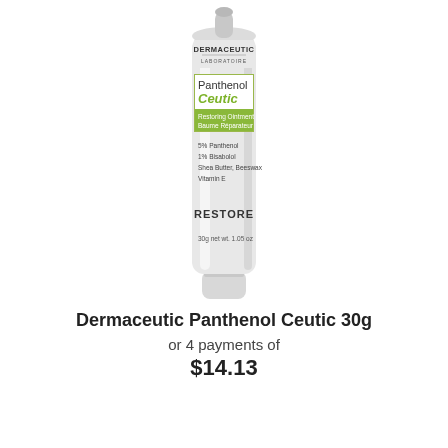[Figure (photo): Dermaceutic Panthenol Ceutic 30g tube product photo — white squeeze tube with green label showing 'Panthenol Ceutic Restoring Ointment / Baume Réparateur', ingredients: 5% Panthenol, 1% Bisabolol, Shea Butter, Beeswax, Vitamin E, and RESTORE text, 30g net wt. 1.05 oz, with Dermaceutic Laboratoire branding at top]
Dermaceutic Panthenol Ceutic 30g
or 4 payments of
$14.13